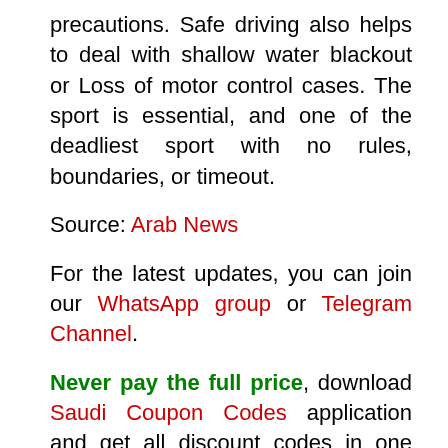precautions. Safe driving also helps to deal with shallow water blackout or Loss of motor control cases. The sport is essential, and one of the deadliest sport with no rules, boundaries, or timeout.
Source: Arab News
For the latest updates, you can join our WhatsApp group or Telegram Channel.
Never pay the full price, download Saudi Coupon Codes application and get all discount codes in one place.